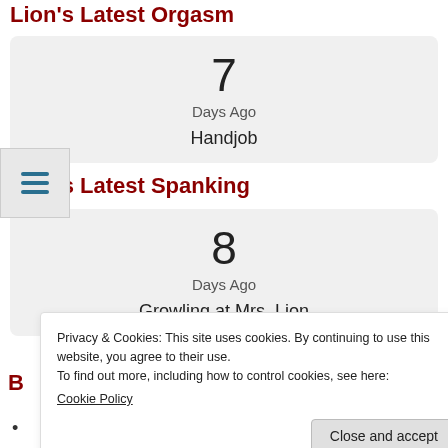Lion's Latest Orgasm
7
Days Ago
Handjob
Lion's Latest Spanking
8
Days Ago
Growling at Mrs. Lion
Privacy & Cookies: This site uses cookies. By continuing to use this website, you agree to their use.
To find out more, including how to control cookies, see here:
Cookie Policy
Close and accept
B
A proud member of